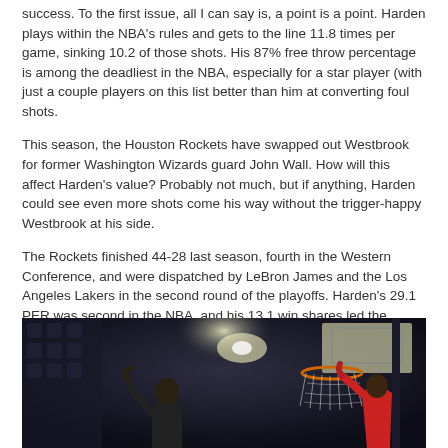success. To the first issue, all I can say is, a point is a point. Harden plays within the NBA's rules and gets to the line 11.8 times per game, sinking 10.2 of those shots. His 87% free throw percentage is among the deadliest in the NBA, especially for a star player (with just a couple players on this list better than him at converting foul shots.
This season, the Houston Rockets have swapped out Westbrook for former Washington Wizards guard John Wall. How will this affect Harden's value? Probably not much, but if anything, Harden could see even more shots come his way without the trigger-happy Westbrook at his side.
The Rockets finished 44-28 last season, fourth in the Western Conference, and were dispatched by LeBron James and the Los Angeles Lakers in the second round of the playoffs. Harden's 29.1 PER was second in the NBA, and his 13.1 win shares led the league. He finished third in NBA MVP voting.
[Figure (photo): Basketball photo showing a player under a basketball hoop/net in an arena with dark background. A player in a red jersey has arms raised near the basket.]